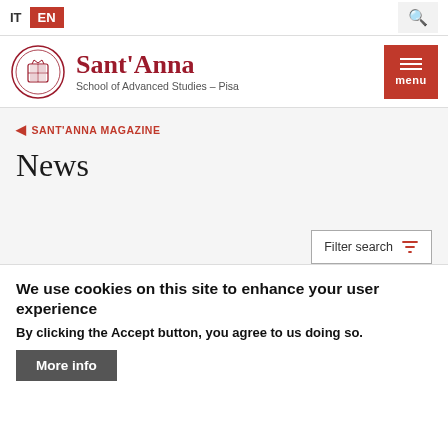IT  EN
[Figure (logo): Sant'Anna School of Advanced Studies - Pisa logo with circular emblem]
SANT'ANNA MAGAZINE
News
Filter search
We use cookies on this site to enhance your user experience
By clicking the Accept button, you agree to us doing so.
More info